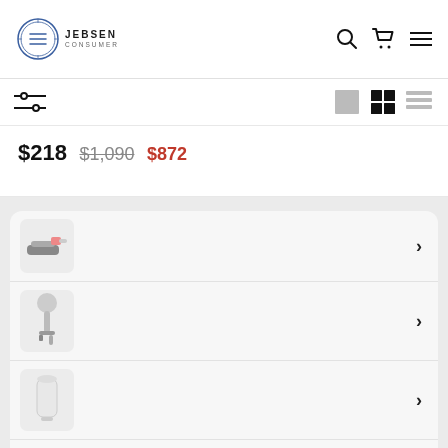[Figure (logo): Jebsen Consumer logo with circular emblem and text]
[Figure (screenshot): Toolbar with filter/sort icon and view toggle icons (large tile, grid, list)]
$218  $1,090  $872
[Figure (screenshot): Product list card with 5 product rows each showing a product thumbnail image and a right chevron arrow]